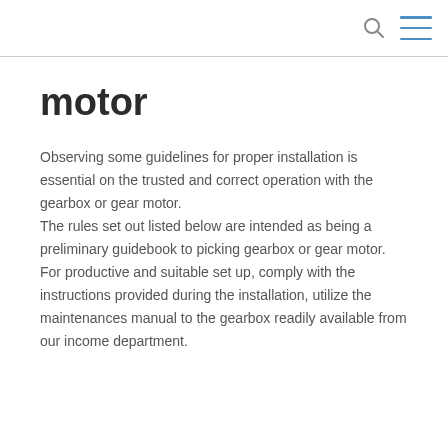motor
Observing some guidelines for proper installation is essential on the trusted and correct operation with the gearbox or gear motor.
The rules set out listed below are intended as being a preliminary guidebook to picking gearbox or gear motor. For productive and suitable set up, comply with the instructions provided during the installation, utilize the maintenances manual to the gearbox readily available from our income department.